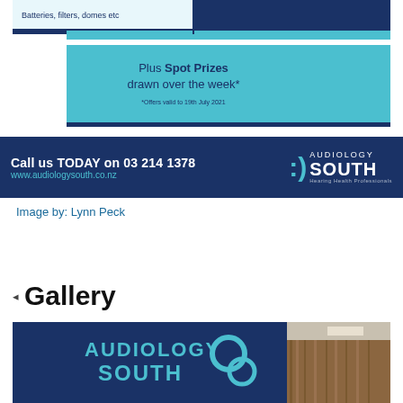[Figure (infographic): Partial top of an advertisement banner showing 'Batteries, filters, domes etc' in a teal/navy colored ad for Audiology South. Also shows a teal box with text 'Plus Spot Prizes drawn over the week* *Offers valid to 19th July 2021']
[Figure (infographic): Dark navy advertisement banner: 'Call us TODAY on 03 214 1378  www.audiologysouth.co.nz' with Audiology South logo on the right (semicolon-style logo mark, AUDIOLOGY SOUTH, Hearing Health Professionals)]
Image by: Lynn Peck
Gallery
[Figure (photo): Partial photo showing interior of Audiology South clinic with AUDIOLOGY SOUTH logo/signage on wall and wooden paneling visible on right side]